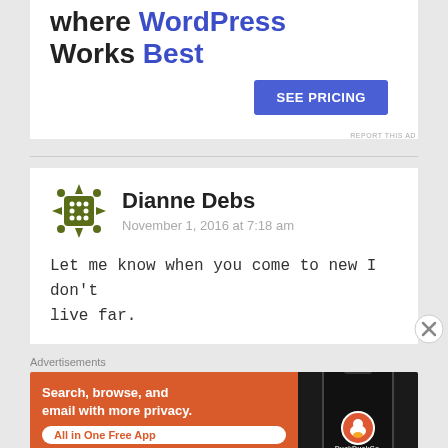where WordPress Works Best
[Figure (other): SEE PRICING button (blue rounded rectangle)]
REPORT THIS AD
Dianne Debs
November 1, 2016 at 7:18 am

Let me know when you come to new I don't live far.
Advertisements
[Figure (other): DuckDuckGo advertisement: Search, browse, and email with more privacy. All in One Free App. Shows a phone mockup with DuckDuckGo logo.]